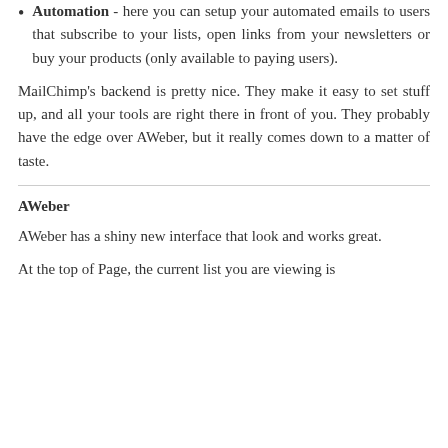Automation - here you can setup your automated emails to users that subscribe to your lists, open links from your newsletters or buy your products (only available to paying users).
MailChimp's backend is pretty nice. They make it easy to set stuff up, and all your tools are right there in front of you. They probably have the edge over AWeber, but it really comes down to a matter of taste.
AWeber
AWeber has a shiny new interface that look and works great.
At the top of Page, the current list you are viewing is